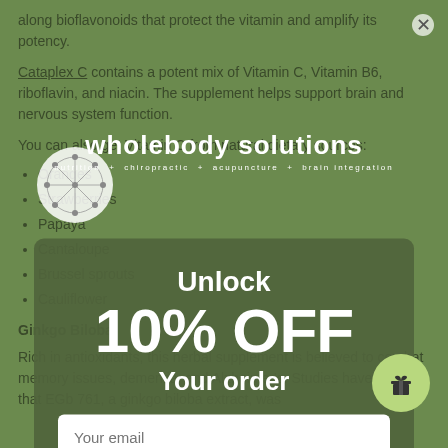along bioflavonoids that protect the vitamin and amplify its potency.
Cataplex C contains a potent mix of Vitamin C, Vitamin B6, riboflavin, and niacin. The supplement helps support brain and nervous system function.
You can also get Vitamin C from natural dietary sources:
Oranges
Strawberries
Papaya
Cantaloupe
Brussel sprouts
Cauliflower
Ginkgo Biloba
Rich in antioxidants, this herbal supplement is believed to combat memory issues, dementia, and Alzheimer's. Studies have shown that EGb 761, a ginkgo biloba extract, was
[Figure (logo): Wholebody Solutions logo with circular geometric brain/network motif and text 'wholebody solutions - nutrition + chiropractic + acupuncture + brain integration']
Unlock
10% OFF
Your order
Your email
Continue